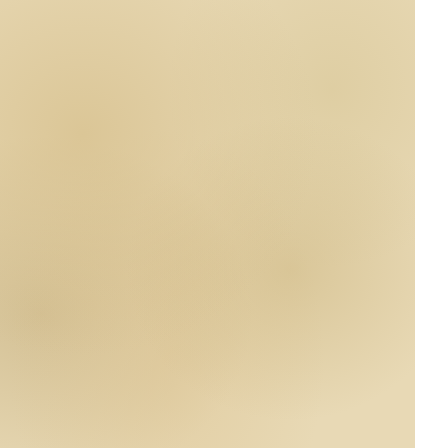| Points | Tier | Achievement | Description |
| --- | --- | --- | --- |
| 20 | Bronze | Heels | to la th Sa Ve |
| 30 | Silver | Deck Diver | No pe st si w in Fa H |
| 30 | Silver | Magma Masher | U G M B di Fi La Ve Bl Fo |